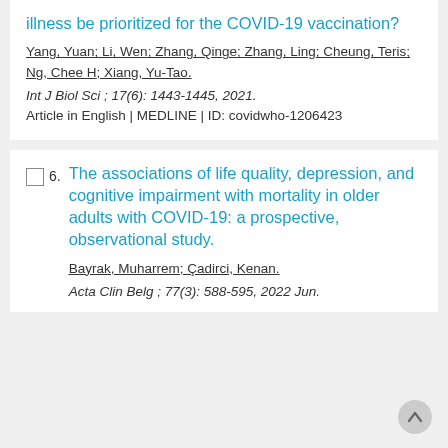illness be prioritized for the COVID-19 vaccination?
Yang, Yuan; Li, Wen; Zhang, Qinge; Zhang, Ling; Cheung, Teris; Ng, Chee H; Xiang, Yu-Tao.
Int J Biol Sci ; 17(6): 1443-1445, 2021.
Article in English | MEDLINE | ID: covidwho-1206423
The associations of life quality, depression, and cognitive impairment with mortality in older adults with COVID-19: a prospective, observational study.
Bayrak, Muharrem; Çadirci, Kenan.
Acta Clin Belg ; 77(3): 588-595, 2022 Jun.